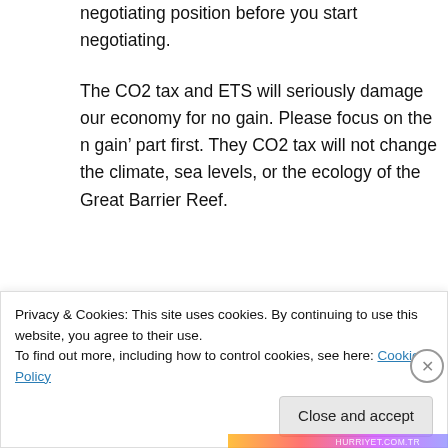negotiating position before you start negotiating.
The CO2 tax and ETS will seriously damage our economy for no gain. Please focus on the n gain’ part first. They CO2 tax will not change the climate, sea levels, or the ecology of the Great Barrier Reef.
★ Like
↳ Reply
Privacy & Cookies: This site uses cookies. By continuing to use this website, you agree to their use.
To find out more, including how to control cookies, see here: Cookie Policy
Close and accept